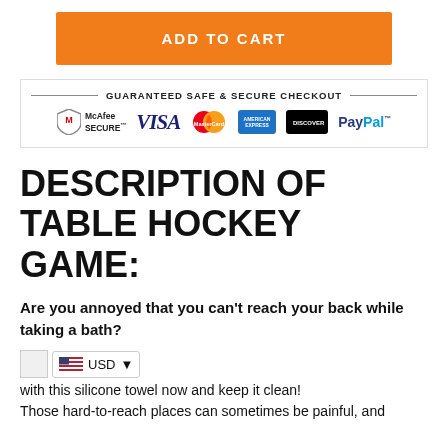[Figure (other): Orange 'ADD TO CART' button]
[Figure (other): Guaranteed Safe & Secure Checkout section with payment icons: McAfee Secure, VISA, MasterCard, American Express, Discover, PayPal]
DESCRIPTION OF TABLE HOCKEY GAME:
Are you annoyed that you can't reach your back while taking a bath?
C with this silicone towel now and keep it clean! Those hard-to-reach places can sometimes be painful, and